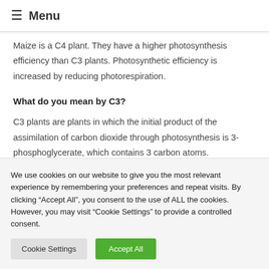≡ Menu
Maize is a C4 plant. They have a higher photosynthesis efficiency than C3 plants. Photosynthetic efficiency is increased by reducing photorespiration.
What do you mean by C3?
C3 plants are plants in which the initial product of the assimilation of carbon dioxide through photosynthesis is 3-phosphoglycerate, which contains 3 carbon atoms.
We use cookies on our website to give you the most relevant experience by remembering your preferences and repeat visits. By clicking "Accept All", you consent to the use of ALL the cookies. However, you may visit "Cookie Settings" to provide a controlled consent.
Cookie Settings | Accept All